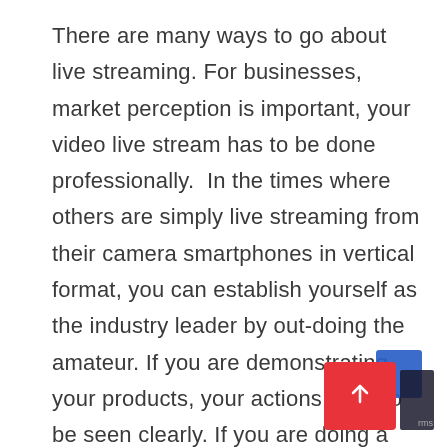There are many ways to go about live streaming. For businesses, market perception is important, your video live stream has to be done professionally.  In the times where others are simply live streaming from their camera smartphones in vertical format, you can establish yourself as the industry leader by out-doing the amateur. If you are demonstrating your products, your actions have to be seen clearly. If you are doing a Q&A session, you have to look good and sound clear. Having a live stream session done professionally will build your business reputation.